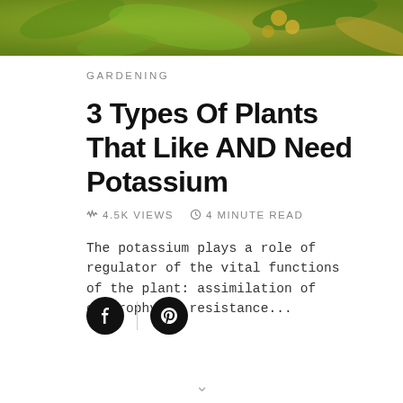[Figure (photo): Top banner photo showing green plant leaves with yellow accents, likely a potassium-deficient plant or garden plant close-up.]
GARDENING
3 Types Of Plants That Like AND Need Potassium
4.5K VIEWS   4 MINUTE READ
The potassium plays a role of regulator of the vital functions of the plant: assimilation of chlorophyll, resistance...
[Figure (illustration): Social share icons: Facebook and Pinterest circular buttons]